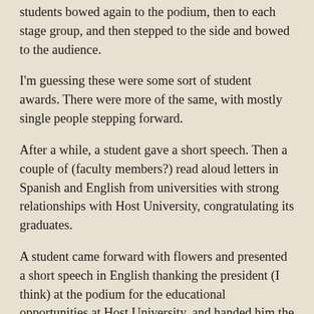students bowed again to the podium, then to each stage group, and then stepped to the side and bowed to the audience.
I'm guessing these were some sort of student awards. There were more of the same, with mostly single people stepping forward.
After a while, a student gave a short speech. Then a couple of (faculty members?) read aloud letters in Spanish and English from universities with strong relationships with Host University, congratulating its graduates.
A student came forward with flowers and presented a short speech in English thanking the president (I think) at the podium for the educational opportunities at Host University, and handed him the flowers.
The band and singers came back, and played/sang what sounded like "Auld Lang Syne," but with Japanese words. (I looked it up later, and it's traditional to play it at Japanese graduations, as well as at other graduations around the